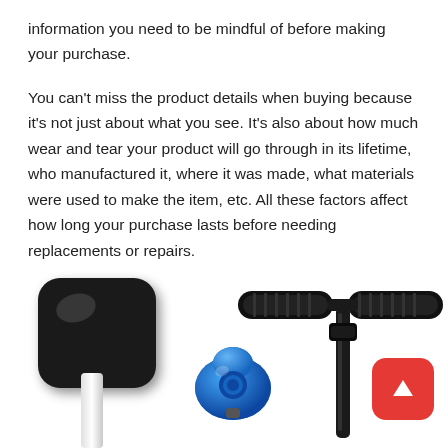information you need to be mindful of before making your purchase.
You can't miss the product details when buying because it's not just about what you see. It's also about how much wear and tear your product will go through in its lifetime, who manufactured it, where it was made, what materials were used to make the item, etc. All these factors affect how long your purchase lasts before needing replacements or repairs.
[Figure (photo): Three scooter-related product images: a black padded scooter seat with white stem on the left, a blue bicycle bell in the center, and black scooter handlebars on the right. A red rounded-square button with an upward arrow is in the bottom-right corner.]